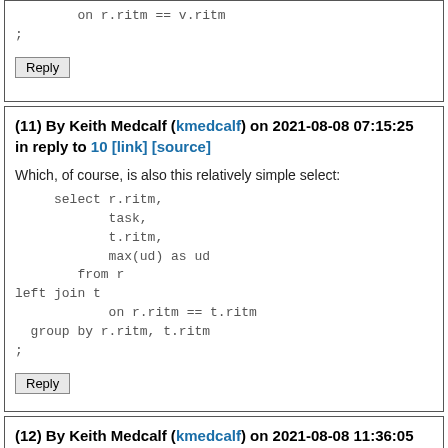on r.ritm == v.ritm
;
Reply
(11) By Keith Medcalf (kmedcalf) on 2021-08-08 07:15:25 in reply to 10 [link] [source]
Which, of course, is also this relatively simple select:
select r.ritm,
        task,
        t.ritm,
        max(ud) as ud
     from r
left join t
        on r.ritm == t.ritm
 group by r.ritm, t.ritm
;
Reply
(12) By Keith Medcalf (kmedcalf) on 2021-08-08 11:36:05